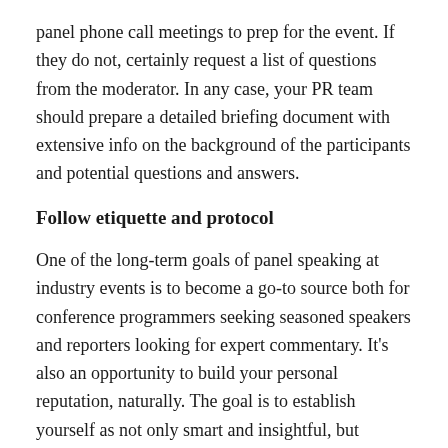panel phone call meetings to prep for the event. If they do not, certainly request a list of questions from the moderator. In any case, your PR team should prepare a detailed briefing document with extensive info on the background of the participants and potential questions and answers.
Follow etiquette and protocol
One of the long-term goals of panel speaking at industry events is to become a go-to source both for conference programmers seeking seasoned speakers and reporters looking for expert commentary. It's also an opportunity to build your personal reputation, naturally. The goal is to establish yourself as not only smart and insightful, but helpful, professional, and respectful. A speaker should never show how annoyed they are with a fellow panelist by making gestures or shifting in his seat, nor should they interrupt a moderator or panelist, or an audience member